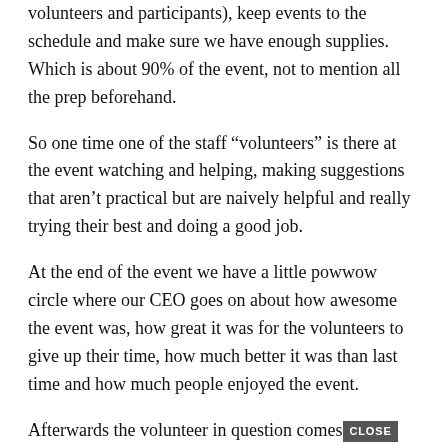volunteers and participants), keep events to the schedule and make sure we have enough supplies. Which is about 90% of the event, not to mention all the prep beforehand.
So one time one of the staff “volunteers” is there at the event watching and helping, making suggestions that aren’t practical but are naively helpful and really trying their best and doing a good job.
At the end of the event we have a little powwow circle where our CEO goes on about how awesome the event was, how great it was for the volunteers to give up their time, how much better it was than last time and how much people enjoyed the event.
Afterwards the volunteer in question comes [CLOSE] me and tells me how great a job I did running the day and it’s clear how hard I worked.